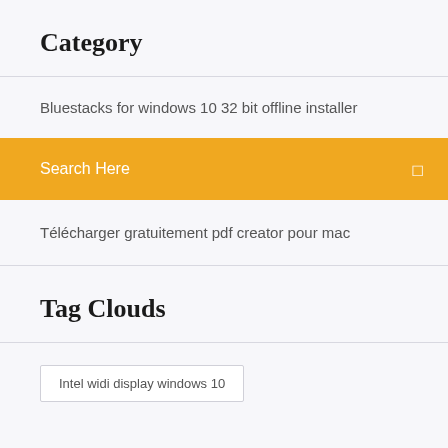Category
Bluestacks for windows 10 32 bit offline installer
Search Here
Télécharger gratuitement pdf creator pour mac
Tag Clouds
Intel widi display windows 10